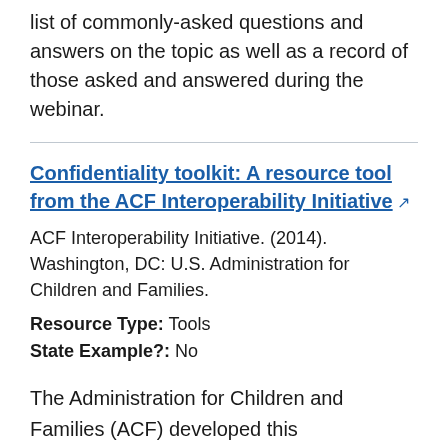list of commonly-asked questions and answers on the topic as well as a record of those asked and answered during the webinar.
Confidentiality toolkit: A resource tool from the ACF Interoperability Initiative [external link]
ACF Interoperability Initiative. (2014). Washington, DC: U.S. Administration for Children and Families.
Resource Type: Tools
State Example?: No
The Administration for Children and Families (ACF) developed this Confidentiality Toolkit to help jurisdictions successfully navigate the delicate balance between privacy and security with the delivery of efficient and effective services. The Confidentiality Toolkit analyzes